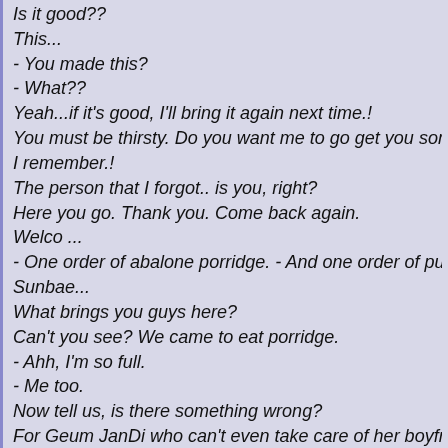Is it good??
This...
- You made this?
- What??
Yeah...if it's good, I'll bring it again next time.!
You must be thirsty. Do you want me to go get you some wate
I remember.!
The person that I forgot.. is you, right?
Here you go. Thank you. Come back again.
Welco ...
- One order of abalone porridge. - And one order of pumpkin
Sunbae...
What brings you guys here?
Can't you see? We came to eat porridge.
- Ahh, I'm so full.
- Me too.
Now tell us, is there something wrong?
For Geum JanDi who can't even take care of her boyfriend be brought some news.
Huh?
JunPyo finally got discharged.